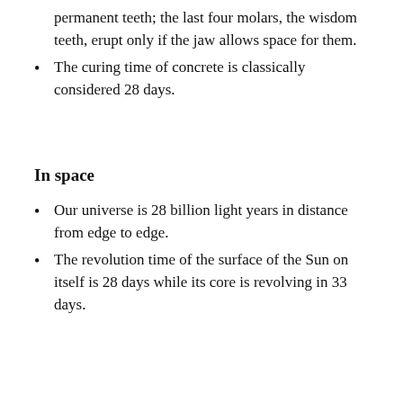permanent teeth; the last four molars, the wisdom teeth, erupt only if the jaw allows space for them.
The curing time of concrete is classically considered 28 days.
In space
Our universe is 28 billion light years in distance from edge to edge.
The revolution time of the surface of the Sun on itself is 28 days while its core is revolving in 33 days.